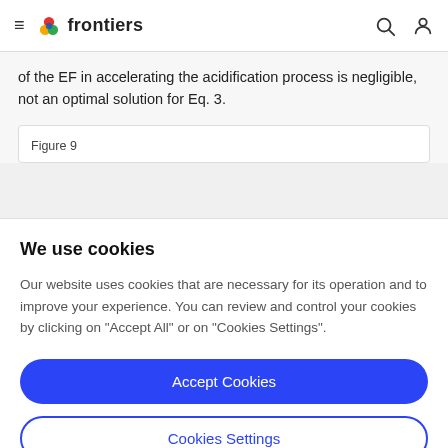frontiers
of the EF in accelerating the acidification process is negligible, not an optimal solution for Eq. 3.
Figure 9
We use cookies
Our website uses cookies that are necessary for its operation and to improve your experience. You can review and control your cookies by clicking on "Accept All" or on "Cookies Settings".
Accept Cookies
Cookies Settings